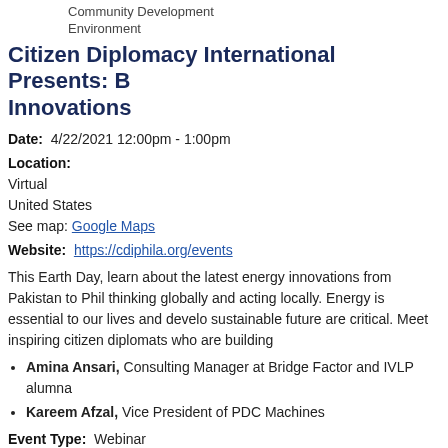Community Development
Environment
Citizen Diplomacy International Presents: B Innovations
Date:  4/22/2021 12:00pm - 1:00pm
Location:
Virtual
United States
See map: Google Maps
Website:  https://cdiphila.org/events
This Earth Day, learn about the latest energy innovations from Pakistan to Phil thinking globally and acting locally. Energy is essential to our lives and develo sustainable future are critical. Meet inspiring citizen diplomats who are building
Amina Ansari, Consulting Manager at Bridge Factor and IVLP alumna
Kareem Afzal, Vice President of PDC Machines
Event Type:  Webinar
Topic:  Science and Technology
        Environment
        Energy/Alternative Energy
Global Region:  Pakastani
                American (United States)
Combating Climate Change: Making Green